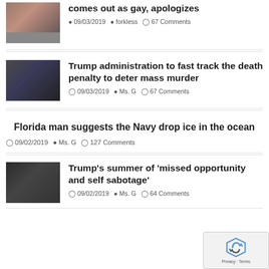[Figure (photo): Partial news article thumbnail – two people, top of page]
comes out as gay, apologizes
09/03/2019 forkless 67 Comments
[Figure (photo): Man in glasses (William Barr) smiling in suit]
Trump administration to fast track the death penalty to deter mass murder
09/03/2019 Ms. G 67 Comments
Florida man suggests the Navy drop ice in the ocean
09/02/2019 Ms. G 127 Comments
[Figure (photo): Trump speaking at podium]
Trump's summer of 'missed opportunity and self sabotage'
09/02/2019 Ms. G 64 Comments